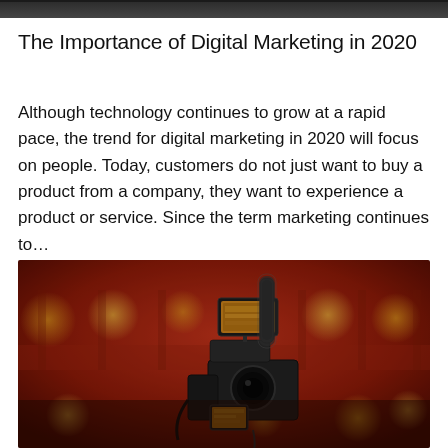[Figure (photo): Top portion of a photo, partially cropped — dark toned image at top of page]
The Importance of Digital Marketing in 2020
Although technology continues to grow at a rapid pace, the trend for digital marketing in 2020 will focus on people. Today, customers do not just want to buy a product from a company, they want to experience a product or service. Since the term marketing continues to…
[Figure (photo): A professional video camera with an external monitor and microphone, set against a blurred red bokeh background with yellow circular lights]